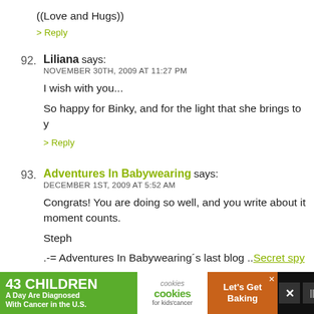((Love and Hugs))
> Reply
92. Liliana says:
NOVEMBER 30TH, 2009 AT 11:27 PM
I wish with you...
So happy for Binky, and for the light that she brings to y
> Reply
93. Adventures In Babywearing says:
DECEMBER 1ST, 2009 AT 5:52 AM
Congrats! You are doing so well, and you write about it moment counts.
Steph
.-= Adventures In Babywearing's last blog ..Secret spy g
> Reply
[Figure (infographic): Advertisement banner: '43 CHILDREN A Day Are Diagnosed With Cancer in the U.S.' with cookies for kids cancer logo and Let's Get Baking text]